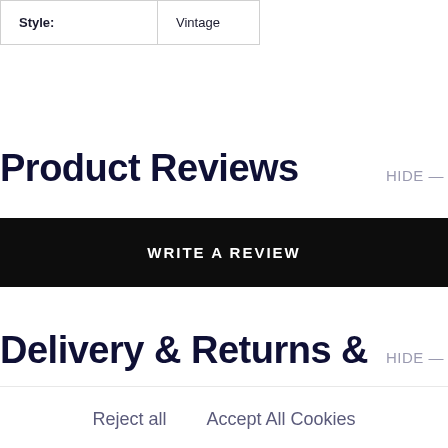| Style: | Vintage |
Product Reviews
HIDE —
WRITE A REVIEW
Delivery & Returns &
HIDE —
Reject all
Accept All Cookies